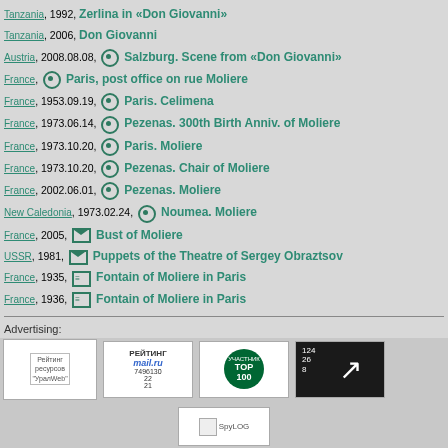Tanzania, 1992, Zerlina in «Don Giovanni»
Tanzania, 2006, Don Giovanni
Austria, 2008.08.08, [icon] Salzburg. Scene from «Don Giovanni»
France, [icon] Paris, post office on rue Moliere
France, 1953.09.19, [icon] Paris. Celimena
France, 1973.06.14, [icon] Pezenas. 300th Birth Anniv. of Moliere
France, 1973.10.20, [icon] Paris. Moliere
France, 1973.10.20, [icon] Pezenas. Chair of Moliere
France, 2002.06.01, [icon] Pezenas. Moliere
New Caledonia, 1973.02.24, [icon] Noumea. Moliere
France, 2005, [envelope] Bust of Moliere
USSR, 1981, [envelope] Puppets of the Theatre of Sergey Obraztsov
France, 1935, [stamp] Fontain of Moliere in Paris
France, 1936, [stamp] Fontain of Moliere in Paris
Advertising:
© 2003-2022 Dmitry Karasyuk. Idea, preparation, d…